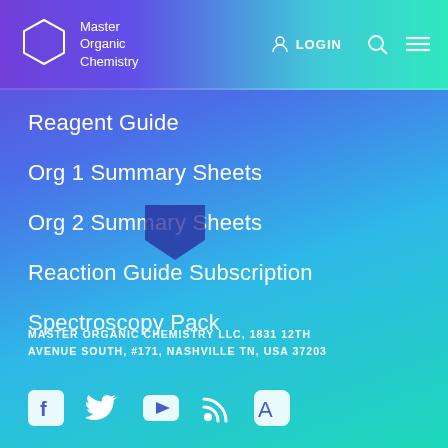[Figure (screenshot): Navigation bar with Master Organic Chemistry logo (hexagon), LOGIN button, search icon, and menu icon]
Reagent Guide
Org 1 Summary Sheets
Org 2 Summary Sheets
Reaction Guide Subscription
Spectroscopy Pack
MASTER ORGANIC CHEMISTRY LLC, 1831 12TH AVENUE SOUTH, #171, NASHVILLE TN, USA 37203